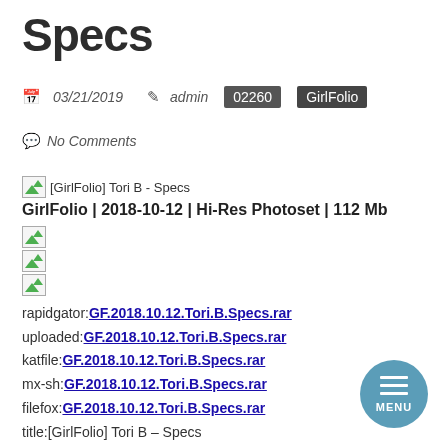Specs
03/21/2019  admin  02260  GirlFolio
No Comments
[Figure (illustration): Broken/placeholder image icon for [GirlFolio] Tori B - Specs]
GirlFolio | 2018-10-12 | Hi-Res Photoset | 112 Mb
[Figure (illustration): Broken/placeholder image icon]
[Figure (illustration): Broken/placeholder image icon]
[Figure (illustration): Broken/placeholder image icon]
rapidgator:GF.2018.10.12.Tori.B.Specs.rar
uploaded:GF.2018.10.12.Tori.B.Specs.rar
katfile:GF.2018.10.12.Tori.B.Specs.rar
mx-sh:GF.2018.10.12.Tori.B.Specs.rar
filefox:GF.2018.10.12.Tori.B.Specs.rar
title:[GirlFolio] Tori B – Specs